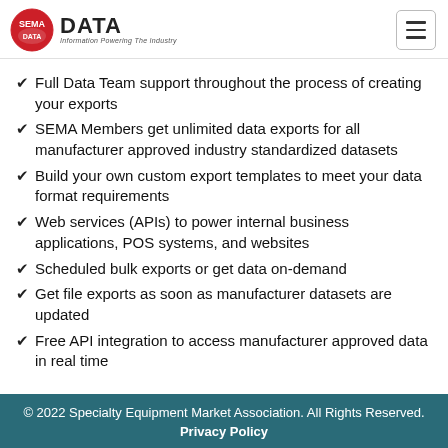SEMA DATA — Information Powering The Industry
Full Data Team support throughout the process of creating your exports
SEMA Members get unlimited data exports for all manufacturer approved industry standardized datasets
Build your own custom export templates to meet your data format requirements
Web services (APIs) to power internal business applications, POS systems, and websites
Scheduled bulk exports or get data on-demand
Get file exports as soon as manufacturer datasets are updated
Free API integration to access manufacturer approved data in real time
© 2022 Specialty Equipment Market Association. All Rights Reserved. Privacy Policy